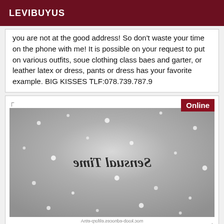LEVIBUYUS
you are not at the good address! So don't waste your time on the phone with me! It is possible on your request to put on various outfits, soue clothing class baes and garter, or leather latex or dress, pants or dress has your favorite example. BIG KISSES TLF:078.739.787.9
[Figure (photo): Black and white photograph with snow overlay effect showing a person, with mirrored cursive text 'Sensual Time' overlaid. An 'Online' badge appears in dark red at top right. Footer text reads 'Ante-profile.seconde-book.com' mirrored.]